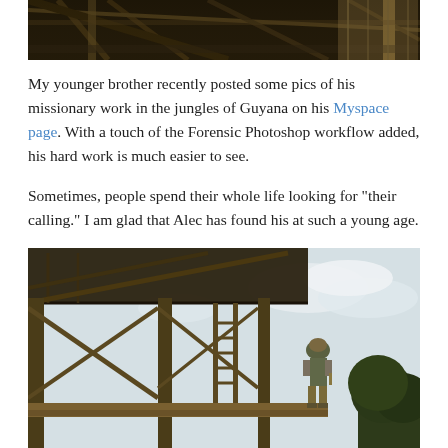[Figure (photo): Top portion of a construction structure with wooden beams and scaffolding in a jungle setting, shown from below at a dark angle]
My younger brother recently posted some pics of his missionary work in the jungles of Guyana on his Myspace page. With a touch of the Forensic Photoshop workflow added, his hard work is much easier to see.
Sometimes, people spend their whole life looking for "their calling." I am glad that Alec has found his at such a young age.
[Figure (photo): A man wearing a hat and shorts standing on wooden scaffolding of a building under construction in a jungle environment, with wooden beams and a ladder visible]